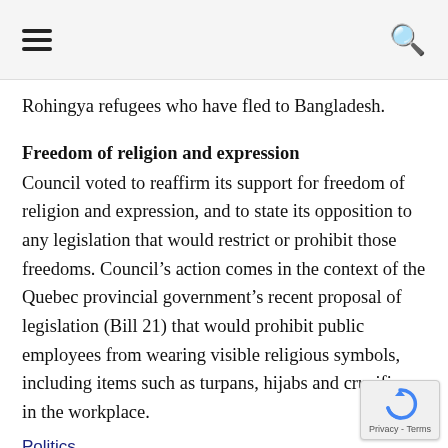☰ [navigation menu] 🔍 [search]
Rohingya refugees who have fled to Bangladesh.
Freedom of religion and expression
Council voted to reaffirm its support for freedom of religion and expression, and to state its opposition to any legislation that would restrict or prohibit those freedoms. Council's action comes in the context of the Quebec provincial government's recent proposal of legislation (Bill 21) that would prohibit public employees from wearing visible religious symbols, including items such as turpans, hijabs and crucifixes, in the workplace.
Politics
Toronto City Council Highlights March 27 and 28
Council Highlights is a summary of a selection of the decisions Toronto City Council made at its recent business